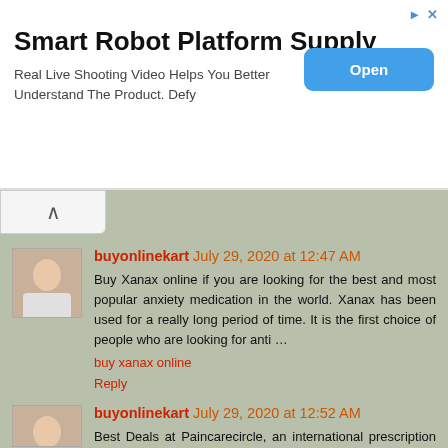[Figure (screenshot): Advertisement banner: Smart Robot Platform Supply with Open button]
Smart Robot Platform Supply
Real Live Shooting Video Helps You Better Understand The Product. Defy
buyonlinekart July 29, 2020 at 12:47 AM
Buy Xanax online if you are looking for the best and most popular anxiety medication in the world. Xanax has been used for a really long period of time. It is the first choice of people who are looking for anti …
buy xanax online
Reply
buyonlinekart July 29, 2020 at 12:52 AM
Best Deals at Paincarecircle, an international prescription service provider, which contracts with International dispensaries and USA pharmacies, is a leader in referring orders for prescription and non-prescription medications on